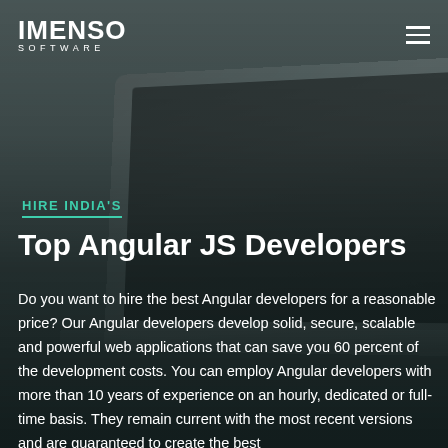[Figure (photo): Background photo of a laptop on a desk, with dark overlay. Imenso Software website screenshot.]
IMENSO SOFTWARE
HIRE INDIA'S
Top Angular JS Developers
Do you want to hire the best Angular developers for a reasonable price? Our Angular developers develop solid, secure, scalable and powerful web applications that can save you 60 percent of the development costs. You can employ Angular developers with more than 10 years of experience on an hourly, dedicated or full-time basis. They remain current with the most recent versions and are guaranteed to create the best